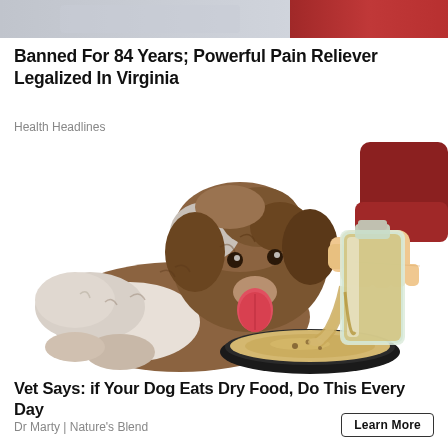[Figure (photo): Top cropped image showing a person in a red/dark top, partially visible]
Banned For 84 Years; Powerful Pain Reliever Legalized In Virginia
Health Headlines
[Figure (illustration): Illustration of a fluffy brown and white dog licking its tongue out, with a human hand pouring liquid from a glass bottle into a dog bowl]
Vet Says: if Your Dog Eats Dry Food, Do This Every Day
Dr Marty | Nature's Blend
Learn More